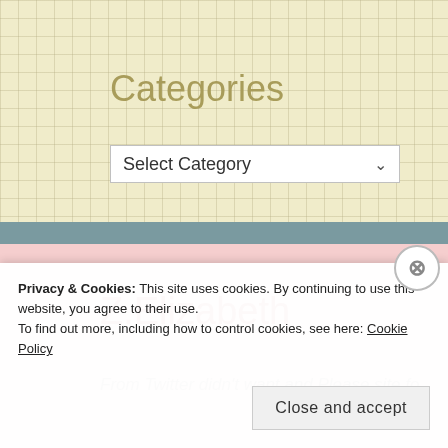Categories
Select Category
Z.Elizabeth
From Twitter didn't want and Please site for
Privacy & Cookies: This site uses cookies. By continuing to use this website, you agree to their use.
To find out more, including how to control cookies, see here: Cookie Policy
Close and accept